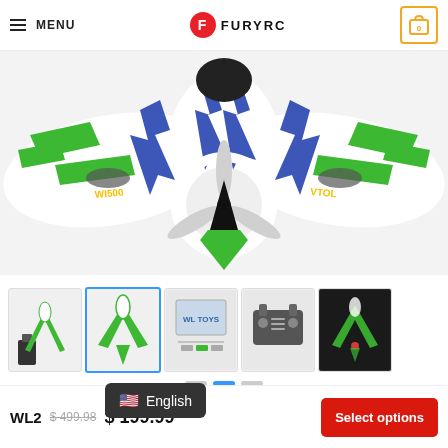MENU | FURYRC | Cart (0)
[Figure (photo): RC flying wing / airplane model (WL series) shown from above, white body with green and blue lightning bolt graphics, visible pusher propeller in a circular shroud, text markings WI500 and VTOL on wings]
[Figure (photo): Thumbnail 1: RC plane with transmitter, front angle view]
[Figure (photo): Thumbnail 2: RC plane top view]
[Figure (photo): Thumbnail 3: Product box and accessories]
[Figure (photo): Thumbnail 4: Remote controller]
[Figure (photo): Thumbnail 5: RC plane in flight, dark background]
WL2... $499.98  $199.99  Select options
English